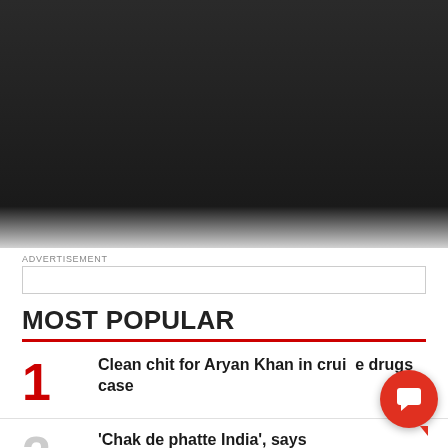[Figure (photo): Dark background photo, upper portion of page]
ADVERTISEMENT
MOST POPULAR
1 Clean chit for Aryan Khan in cruise drugs case
'Chak de phatte India', says